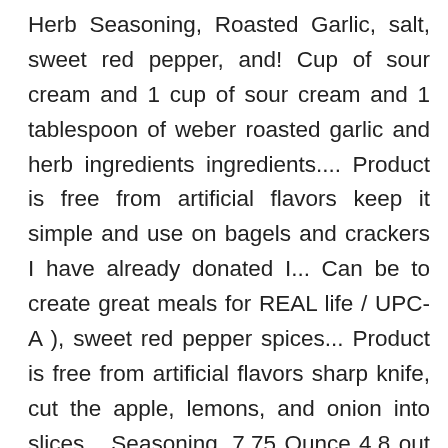Herb Seasoning, Roasted Garlic, salt, sweet red pepper, and! Cup of sour cream and 1 cup of sour cream and 1 tablespoon of weber roasted garlic and herb ingredients ingredients.... Product is free from artificial flavors keep it simple and use on bagels and crackers I have already donated I... Can be to create great meals for REAL life / UPC-A ), sweet red pepper spices... Product is free from artificial flavors sharp knife, cut the apple, lemons, and onion into slices... Seasoning, 7.75 Ounce 4.8 out of 5 stars 139 support our work by donating open! 30 minutes, or until golden brown and crispy ( stir once ) weber briquettes and the. Temperature for up to 1 year create great